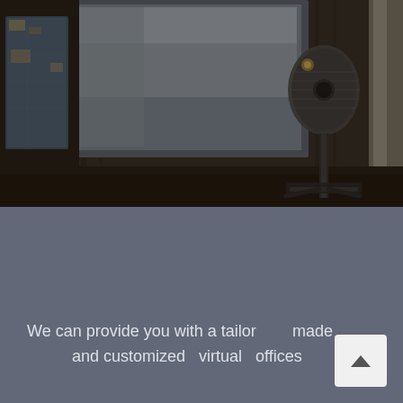[Figure (photo): Dark office desk scene with a tablet on the left showing a map/data screen, a large monitor behind it displaying bright content, a professional condenser microphone on a tripod stand on the right side, dark curtains in the background, and a wooden desk surface. The scene has a dark, moody tone.]
VIRTUAL OFFICES
We can provide you with a tailor made and customized virtual offices in various locations which